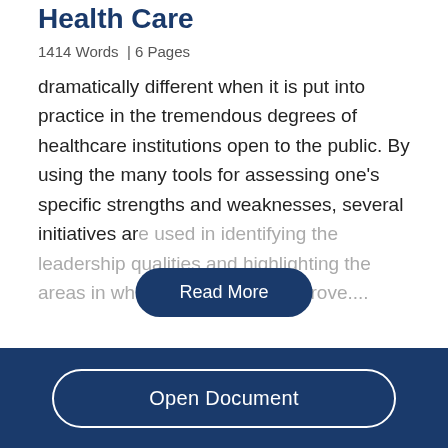Health Care
1414 Words  | 6 Pages
dramatically different when it is put into practice in the tremendous degrees of healthcare institutions open to the public. By using the many tools for assessing one's specific strengths and weaknesses, several initiatives are used in identifying the leadership qualities and highlighting the areas in which one needs to improve....
Open Document